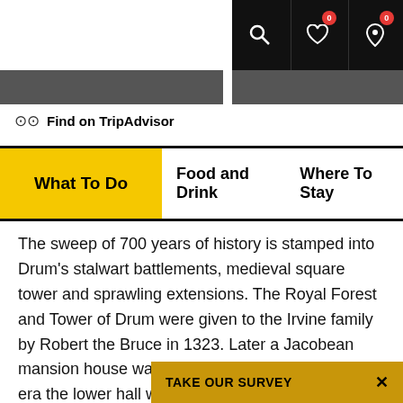[Figure (screenshot): Top navigation bar with search icon, heart icon with badge 0, and map pin icon with badge 0, all on black background]
oo Find on TripAdvisor
What To Do   Food and Drink   Where To Stay
The sweep of 700 years of history is stamped into Drum's stalwart battlements, medieval square tower and sprawling extensions. The Royal Forest and Tower of Drum were given to the Irvine family by Robert the Bruce in 1323. Later a Jacobean mansion house was added, and in the Victorian era the lower hall was converted to a library.
The beautiful Garden of Historic Roses is divided into quadrants that show how rose
TAKE OUR SURVEY  ×